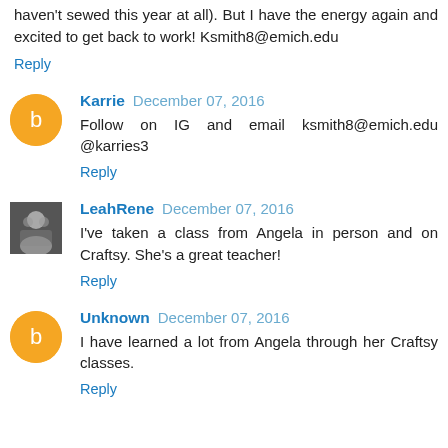haven't sewed this year at all). But I have the energy again and excited to get back to work! Ksmith8@emich.edu
Reply
Karrie  December 07, 2016
Follow on IG and email ksmith8@emich.edu @karries3
Reply
LeahRene  December 07, 2016
I've taken a class from Angela in person and on Craftsy. She's a great teacher!
Reply
Unknown  December 07, 2016
I have learned a lot from Angela through her Craftsy classes.
Reply